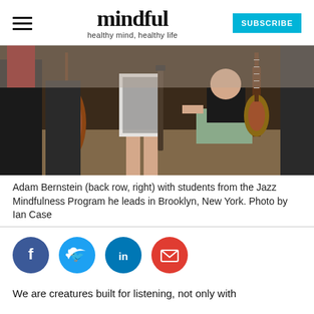mindful | healthy mind, healthy life | SUBSCRIBE
[Figure (photo): Group photo of Adam Bernstein with students from the Jazz Mindfulness Program in Brooklyn, New York. Multiple young people holding musical instruments including a bass, clarinet, and guitar. One person is kneeling in front.]
Adam Bernstein (back row, right) with students from the Jazz Mindfulness Program he leads in Brooklyn, New York. Photo by Ian Case
[Figure (infographic): Social media sharing icons: Facebook (dark blue circle), Twitter (light blue circle), LinkedIn (medium blue circle), Email (red circle)]
We are creatures built for listening, not only with